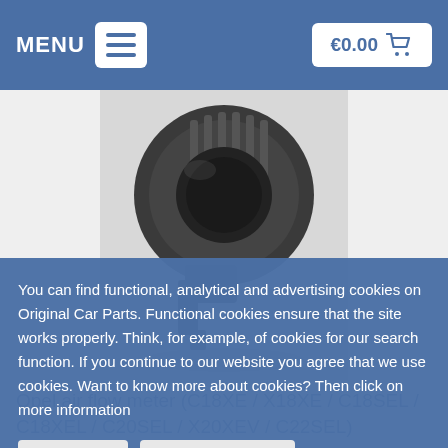MENU  €0.00
[Figure (photo): Opel air flow meter / mass airflow sensor - a dark grey cylindrical automotive part with ribbed housing and connector plug, photographed on a light grey surface]
Opel air flow meter (C18XE / X18XE / C18SEL / C18XEL / C20SEL / X20XEV / C22SEL)
You can find functional, analytical and advertising cookies on Original Car Parts. Functional cookies ensure that the site works properly. Think, for example, of cookies for our search function. If you continue to our website you agree that we use cookies. Want to know more about cookies? Then click on more information
✔ Close   More information